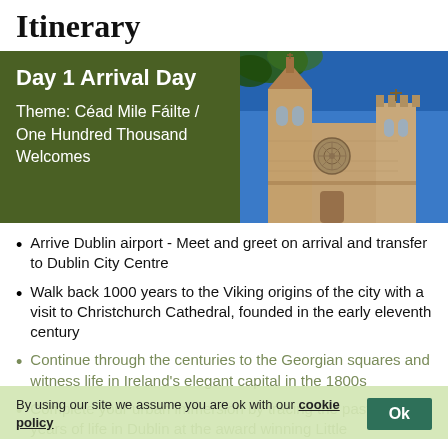Itinerary
Day 1 Arrival Day
Theme: Céad Mile Fáilte / One Hundred Thousand Welcomes
[Figure (photo): Gothic cathedral against a blue sky with tree branches, stone facade with rose window]
Arrive Dublin airport - Meet and greet on arrival and transfer to Dublin City Centre
Walk back 1000 years to the Viking origins of the city with a visit to Christchurch Cathedral, founded in the early eleventh century
Continue through the centuries to the Georgian squares and witness life in Ireland's elegant capital in the 1800s
Complete your urban immersion by tracing the past 100 years of life in Dublin at the award winning Little
By using our site we assume you are ok with our cookie policy  Ok